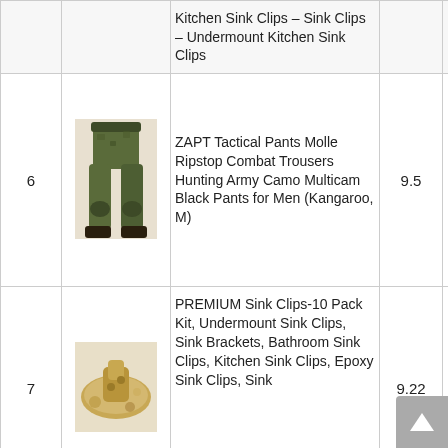| # | Image | Product Name | Score |  |
| --- | --- | --- | --- | --- |
|  |  | Kitchen Sink Clips – Sink Clips – Undermount Kitchen Sink Clips |  | Check Price |
| 6 | [image] | ZAPT Tactical Pants Molle Ripstop Combat Trousers Hunting Army Camo Multicam Black Pants for Men (Kangaroo, M) | 9.5 | Check Price |
| 7 | [image] | PREMIUM Sink Clips-10 Pack Kit, Undermount Sink Clips, Sink Brackets, Bathroom Sink Clips, Kitchen Sink Clips, Epoxy Sink Clips, Sink | 9.22 | Check Price |